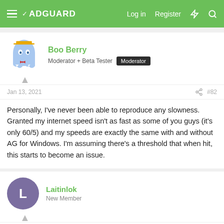ADGUARD — Log in | Register
Boo Berry
Moderator + Beta Tester | Moderator
Jan 13, 2021  #82
Personally, I've never been able to reproduce any slowness. Granted my internet speed isn't as fast as some of you guys (it's only 60/5) and my speeds are exactly the same with and without AG for Windows. I'm assuming there's a threshold that when hit, this starts to become an issue.
Laitinlok
New Member
Jan 20, 2021  #87